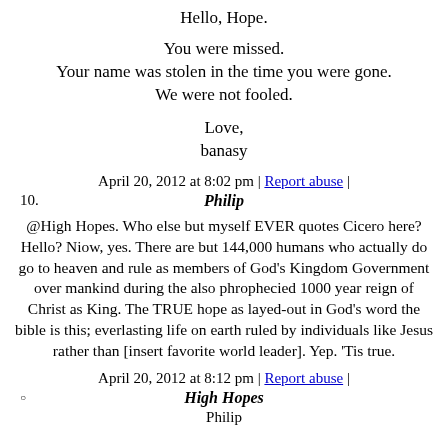Hello, Hope.
You were missed.
Your name was stolen in the time you were gone.
We were not fooled.
Love,
banasy
April 20, 2012 at 8:02 pm | Report abuse |
10.  Philip
@High Hopes. Who else but myself EVER quotes Cicero here? Hello? Niow, yes. There are but 144,000 humans who actually do go to heaven and rule as members of God's Kingdom Government over mankind during the also phrophecied 1000 year reign of Christ as King. The TRUE hope as layed-out in God's word the bible is this; everlasting life on earth ruled by individuals like Jesus rather than [insert favorite world leader]. Yep. 'Tis true.
April 20, 2012 at 8:12 pm | Report abuse |
High Hopes
Philip